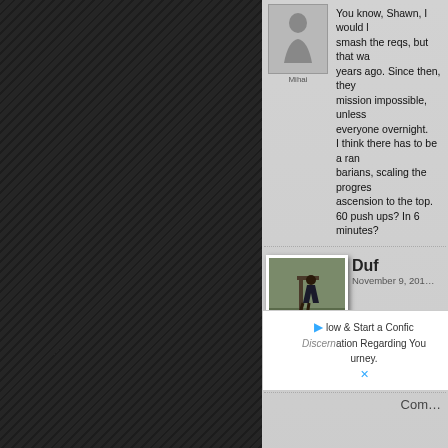[Figure (screenshot): Screenshot of a web forum/comment section showing two comments. First comment from user 'Mihai' (avatar shown, silhouette placeholder) with text about smashing requirements and push-ups. Second comment from user 'Duf' (photo avatar showing person climbing/jumping over obstacle) with name, date November 9, 201x, and partial reply text. Dark diagonal-texture background on left, gray comment panel on right. Lower portion shows dark brick/stone texture background with a partial advertisement banner.]
You know, Shawn, I would l... smash the reqs, but that wa... years ago. Since then, they... mission impossible, unless ... everyone overnight. I think there has to be a ran... barians, scaling the progres... ascension to the top. 60 push ups? In 6 minutes?...
Duf
November 9, 201...
Yep Mihai I kno... a pipe dream f...
Com...
low & Start a Confic... ation Regarding You... urney.